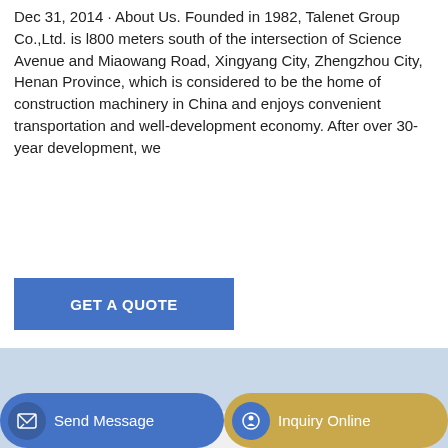Dec 31, 2014 · About Us. Founded in 1982, Talenet Group Co.,Ltd. is l800 meters south of the intersection of Science Avenue and Miaowang Road, Xingyang City, Zhengzhou City, Henan Province, which is considered to be the home of construction machinery in China and enjoys convenient transportation and well-development economy. After over 30-year development, we
[Figure (other): Blue button with white text 'GET A QUOTE']
[Figure (photo): Photo of a green and white Talenet brand self-loading concrete mixer truck on a construction site]
[Figure (other): Bottom navigation bar with 'Send Message' button (blue) and 'Inquiry Online' button (golden/tan)]